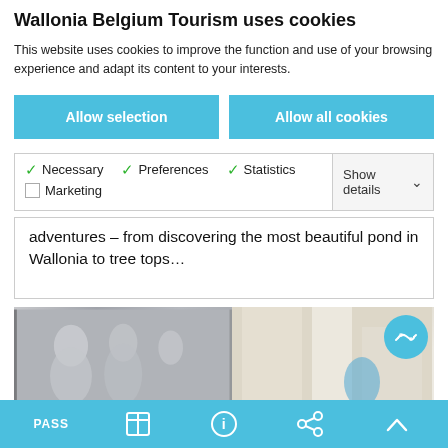Wallonia Belgium Tourism uses cookies
This website uses cookies to improve the function and use of your browsing experience and adapt its content to your interests.
Allow selection
Allow all cookies
Necessary  Preferences  Statistics  Marketing  Show details
adventures – from discovering the most beautiful pond in Wallonia to tree tops...
[Figure (photo): Photo strip showing artwork (statue mural) on the left and an interior architectural scene on the right with a blue circular icon overlay]
PASS  [book icon]  [info icon]  [share icon]  [chevron up icon]